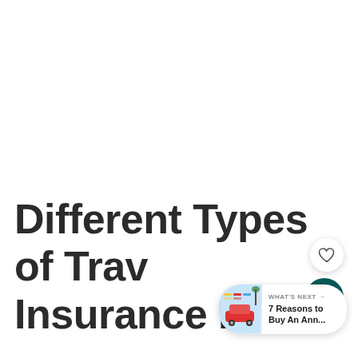Different Types of Travel Insurance Plans
[Figure (infographic): Heart/like button (circle with heart icon), share count bubble showing 466 with share icon, and a 'What's Next' card showing '7 Reasons to Buy An Ann...' with thumbnail]
WHAT'S NEXT → 7 Reasons to Buy An Ann...